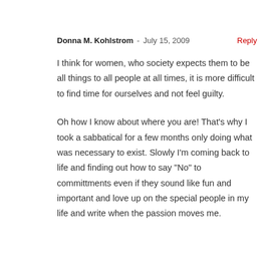Donna M. Kohlstrom - July 15, 2009 Reply
I think for women, who society expects them to be all things to all people at all times, it is more difficult to find time for ourselves and not feel guilty.
Oh how I know about where you are! That's why I took a sabbatical for a few months only doing what was necessary to exist. Slowly I'm coming back to life and finding out how to say "No" to committments even if they sound like fun and important and love up on the special people in my life and write when the passion moves me.